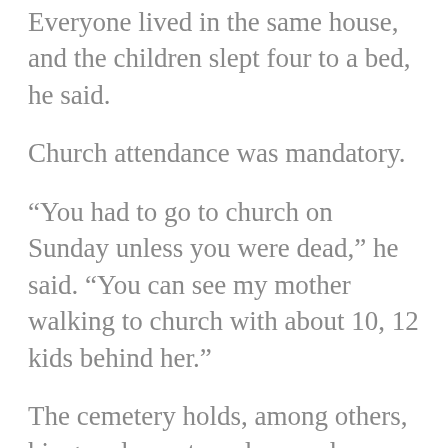Everyone lived in the same house, and the children slept four to a bed, he said.
Church attendance was mandatory.
“You had to go to church on Sunday unless you were dead,” he said. “You can see my mother walking to church with about 10, 12 kids behind her.”
The cemetery holds, among others, his grandparents and an uncle — the only one buried in a ground-level vault. “All of this is my family,” he said as he stood near a gnarled cedar tree.
No one seems to have been buried in the cemetery for over 35 years. And what is now Greater Mt. Nebo AME Church has since moved to an 87-acre campus in Bowie, about three miles away.